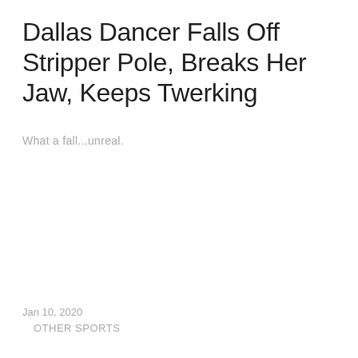Dallas Dancer Falls Off Stripper Pole, Breaks Her Jaw, Keeps Twerking
What a fall...unreal.
Jan 10, 2020
OTHER SPORTS